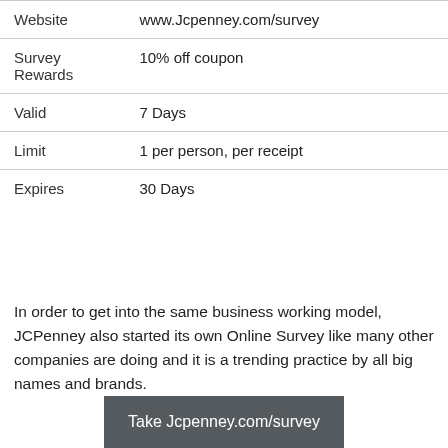|  |  |
| --- | --- |
| Website | www.Jcpenney.com/survey |
| Survey Rewards | 10% off coupon |
| Valid | 7 Days |
| Limit | 1 per person, per receipt |
| Expires | 30 Days |
In order to get into the same business working model, JCPenney also started its own Online Survey like many other companies are doing and it is a trending practice by all big names and brands.
Take Jcpenney.com/survey